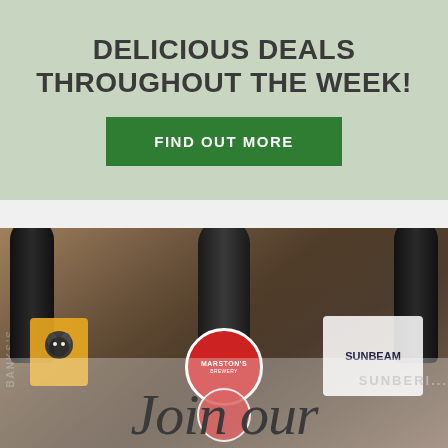DELICIOUS DEALS THROUGHOUT THE WEEK!
FIND OUT MORE
[Figure (photo): Photo of a pub bar with dark beer taps in the foreground, including a Marston's brewery badge, wolf logo badge on the left, and a lighter badge on the right. Background shows blurred bottles and bar shelves. 'Join our' text overlaid at the bottom in large italic serif font.]